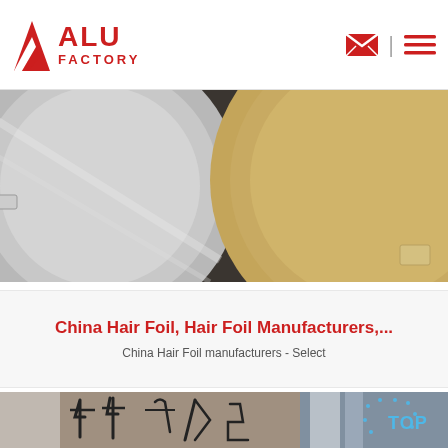ALU FACTORY
[Figure (photo): Close-up photo of aluminum foil rolls on a production spool, showing silver metallic foil and a brown paper core roll]
China Hair Foil, Hair Foil Manufacturers,...
China Hair Foil manufacturers - Select
[Figure (photo): Photo of aluminum foil rolls with handwritten Chinese/numeric labels in marker, and a decorative TOP badge with dots in blue]